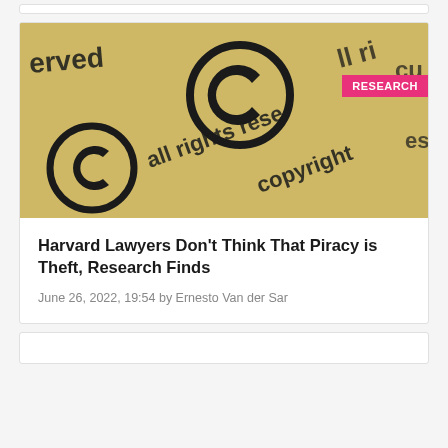[Figure (photo): Close-up photo of a yellowed paper showing copyright symbols and text reading 'all rights reserved', 'copyright', with a pink 'RESEARCH' badge overlaid in the top-right corner.]
Harvard Lawyers Don't Think That Piracy is Theft, Research Finds
June 26, 2022, 19:54 by Ernesto Van der Sar